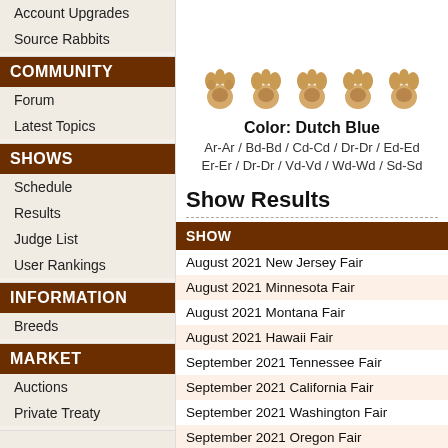[Figure (illustration): Rabbit paw illustrations showing Dutch Blue coloring]
Color: Dutch Blue
Ar-Ar / Bd-Bd / Cd-Cd / Dr-Dr / Ed-Ed
Er-Er / Dr-Dr / Vd-Vd / Wd-Wd / Sd-Sd
Show Results
| SHOW |
| --- |
| August 2021 New Jersey Fair |
| August 2021 Minnesota Fair |
| August 2021 Montana Fair |
| August 2021 Hawaii Fair |
| September 2021 Tennessee Fair |
| September 2021 California Fair |
| September 2021 Washington Fair |
| September 2021 Oregon Fair |
| September 2021 Texas Fair |
| September 2021 Massachusetts Fair |
| September 2021 Mississippi Fair |
| September 2021 Oklahoma Fair |
| September 2021 Delaware Fair |
| September 2021 South Dakota Fair |
| September 2021 Illinois Fair |
| September 2021 Maine Fair |
COMMUNITY
Forum
Latest Topics
SHOWS
Schedule
Results
Judge List
User Rankings
INFORMATION
Breeds
MARKET
Auctions
Private Treaty
Account Upgrades
Source Rabbits